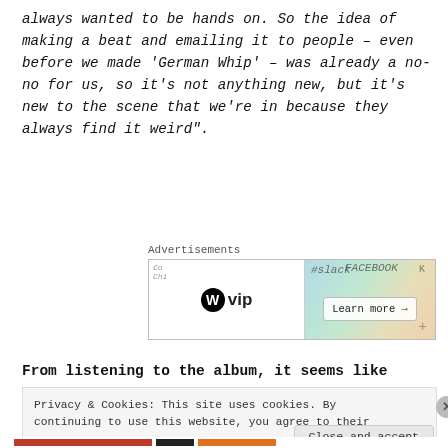always wanted to be hands on. So the idea of making a beat and emailing it to people – even before we made 'German Whip' – was already a no-no for us, so it's not anything new, but it's new to the scene that we're in because they always find it weird".
[Figure (other): WordPress VIP advertisement banner with 'W vip' logo on left, and colorful social media icons (Slack, Facebook) on right with 'Learn more →' button]
From listening to the album, it seems like
Privacy & Cookies: This site uses cookies. By continuing to use this website, you agree to their use. To find out more, including how to control cookies, see here: Cookie Policy
Close and accept